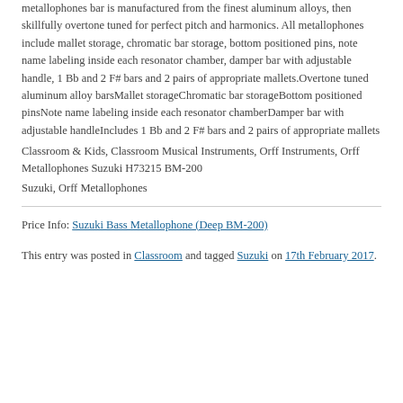metallophones bar is manufactured from the finest aluminum alloys, then skillfully overtone tuned for perfect pitch and harmonics. All metallophones include mallet storage, chromatic bar storage, bottom positioned pins, note name labeling inside each resonator chamber, damper bar with adjustable handle, 1 Bb and 2 F# bars and 2 pairs of appropriate mallets.Overtone tuned aluminum alloy barsMallet storageChromatic bar storageBottom positioned pinsNote name labeling inside each resonator chamberDamper bar with adjustable handleIncludes 1 Bb and 2 F# bars and 2 pairs of appropriate mallets
Classroom & Kids, Classroom Musical Instruments, Orff Instruments, Orff Metallophones Suzuki H73215 BM-200
Suzuki, Orff Metallophones
Price Info: Suzuki Bass Metallophone (Deep BM-200)
This entry was posted in Classroom and tagged Suzuki on 17th February 2017.